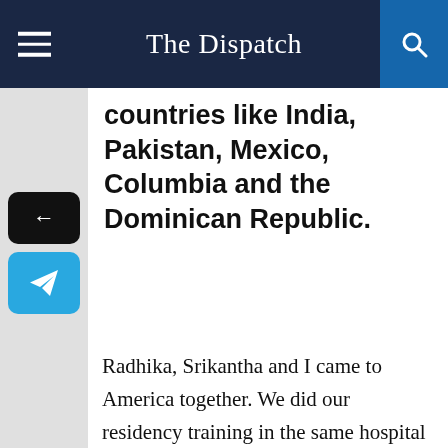The Dispatch
countries like India, Pakistan, Mexico, Columbia and the Dominican Republic.
Radhika, Srikantha and I came to America together. We did our residency training in the same hospital in New York. As we were about to complete our residency, we saw an advertisement for three jobs in this remote town. So remote, we had noticed that we didn't have access to any mobile network when we visited the town for the